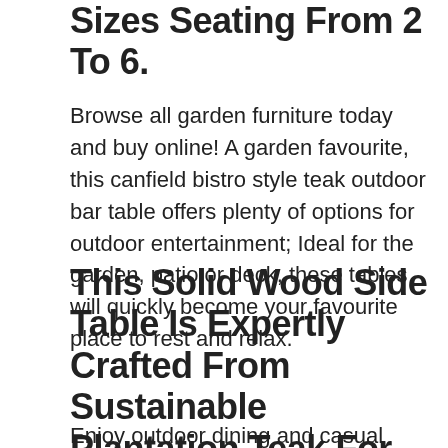Sizes Seating From 2 To 6.
Browse all garden furniture today and buy online! A garden favourite, this canfield bistro style teak outdoor bar table offers plenty of options for outdoor entertainment; Ideal for the garden, patio or deck, these tables will quickly become your favourite place to rest and relax.
This Solid Wood Side Table Is Expertly Crafted From Sustainable Plantation Teak For Long Life And Great Looks.
Enjoy outdoor dining and casual elegance